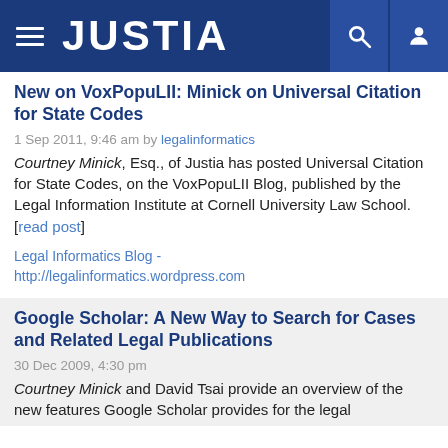JUSTIA
New on VoxPopuLII: Minick on Universal Citation for State Codes
1 Sep 2011, 9:46 am by legalinformatics
Courtney Minick, Esq., of Justia has posted Universal Citation for State Codes, on the VoxPopuLII Blog, published by the Legal Information Institute at Cornell University Law School. [read post]
Legal Informatics Blog - http://legalinformatics.wordpress.com
Google Scholar: A New Way to Search for Cases and Related Legal Publications
30 Dec 2009, 4:30 pm
Courtney Minick and David Tsai provide an overview of the new features Google Scholar provides for the legal